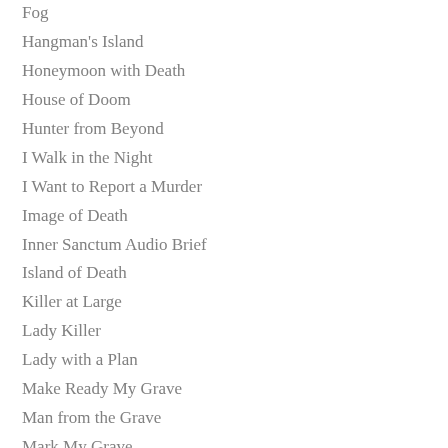Fog
Hangman's Island
Honeymoon with Death
House of Doom
Hunter from Beyond
I Walk in the Night
I Want to Report a Murder
Image of Death
Inner Sanctum Audio Brief
Island of Death
Killer at Large
Lady Killer
Lady with a Plan
Make Ready My Grave
Man from the Grave
Mark My Grave
Mind over Murder
Murder by Prophecy
Murder Comes at Midnight
Murder Comes to Life
Murder Faces East